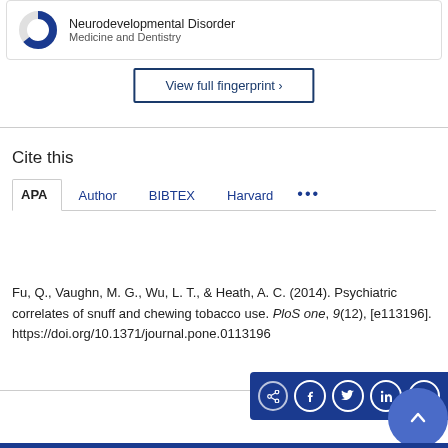[Figure (other): Partial donut/pie chart icon with dark blue color, partially filled]
Neurodevelopmental Disorder
Medicine and Dentistry
View full fingerprint >
Cite this
APA | Author | BIBTEX | Harvard | ...
Fu, Q., Vaughn, M. G., Wu, L. T., & Heath, A. C. (2014). Psychiatric correlates of snuff and chewing tobacco use. PloS one, 9(12), [e113196]. https://doi.org/10.1371/journal.pone.0113196
[Figure (other): Social media share bar with Facebook, Twitter, LinkedIn, Email icons on dark blue background, and a scroll-to-top button]